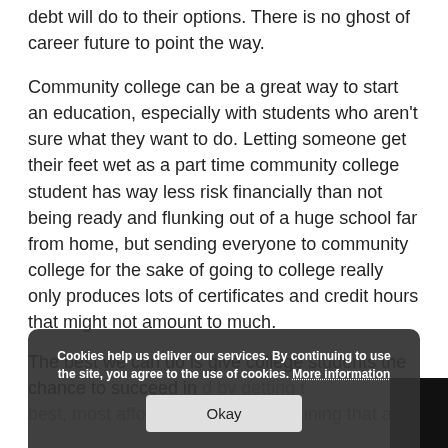debt will do to their options. There is no ghost of career future to point the way.
Community college can be a great way to start an education, especially with students who aren't sure what they want to do. Letting someone get their feet wet as a part time community college student has way less risk financially than not being ready and flunking out of a huge school far from home, but sending everyone to community college for the sake of going to college really only produces lots of certificates and credit hours that might not amount to much.
The best we can do is give college students the chance to succeed in ... d by getting the best, most affordable degree or training that all them to earn a living. I don't think a blank check for
Cookies help us deliver our services. By continuing to use the site, you agree to the use of cookies. More information Okay